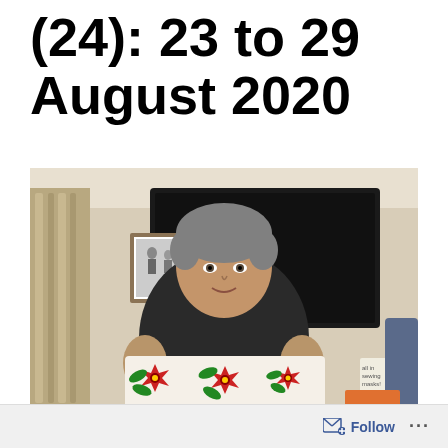(24): 23 to 29 August 2020
[Figure (photo): A woman with short grey hair holding up a face mask with a red poinsettia floral pattern on white fabric, standing in a living room with a large flat screen TV and a framed photo on the wall behind her.]
Follow ...